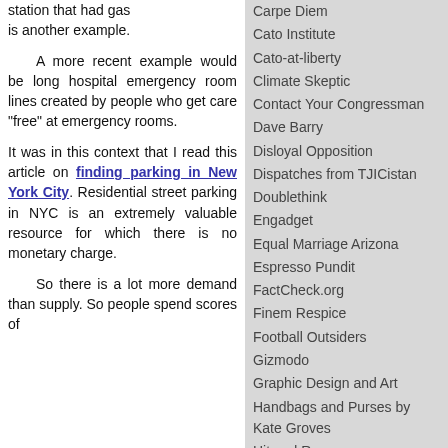station that had gas is another example.
  A more recent example would be long hospital emergency room lines created by people who get care "free" at emergency rooms.

It was in this context that I read this article on finding parking in New York City. Residential street parking in NYC is an extremely valuable resource for which there is no monetary charge. So there is a lot more demand than supply. So people spend scores of
Carpe Diem
Cato Institute
Cato-at-liberty
Climate Skeptic
Contact Your Congressman
Dave Barry
Disloyal Opposition
Dispatches from TJICistan
Doublethink
Engadget
Equal Marriage Arizona
Espresso Pundit
FactCheck.org
Finem Respice
Football Outsiders
Gizmodo
Graphic Design and Art
Handbags and Purses by Kate Groves
Hit and Run
Home Theater Blog
Houston Clear Thinkers